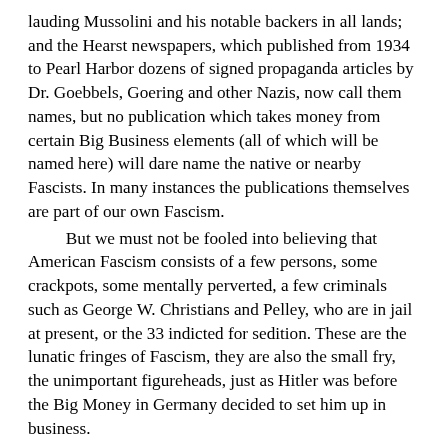lauding Mussolini and his notable backers in all lands; and the Hearst newspapers, which published from 1934 to Pearl Harbor dozens of signed propaganda articles by Dr. Goebbels, Goering and other Nazis, now call them names, but no publication which takes money from certain Big Business elements (all of which will be named here) will dare name the native or nearby Fascists. In many instances the publications themselves are part of our own Fascism.
	But we must not be fooled into believing that American Fascism consists of a few persons, some crackpots, some mentally perverted, a few criminals such as George W. Christians and Pelley, who are in jail at present, or the 33 indicted for sedition. These are the lunatic fringes of Fascism, they are also the small fry, the unimportant figureheads, just as Hitler was before the Big Money in Germany decided to set him up in business.
	The real Fascists of America are never named in the commercial press. It will not even hint at the fact that there are many powerful elements working against a greater democracy, against an America without discrimination based on race, color and creed, an America where never again will one third of the people be without sufficient food, clothing and shelter